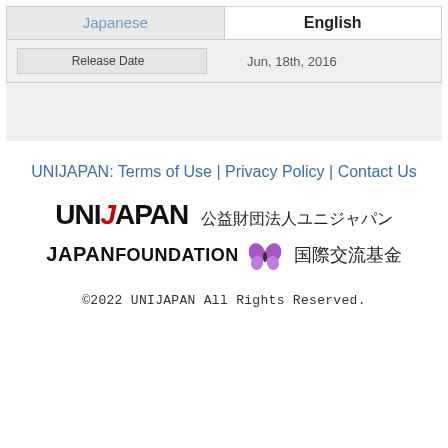| Japanese | English |
| --- | --- |
| Release Date | Jun, 18th, 2016 |
UNIJAPAN: Terms of Use | Privacy Policy | Contact Us
[Figure (logo): UNIJAPAN logo with Japanese text 公益財団法人ユニジャパン]
[Figure (logo): Japan Foundation logo with butterfly icon and Japanese text 国際交流基金]
©2022 UNIJAPAN All Rights Reserved.